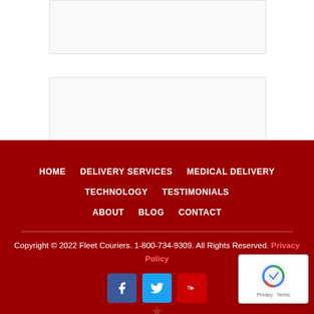[Figure (screenshot): White content area with two bordered card-like boxes (ad placeholders or content boxes)]
HOME  DELIVERY SERVICES  MEDICAL DELIVERY  TECHNOLOGY  TESTIMONIALS  ABOUT  BLOG  CONTACT

Copyright © 2022 Fleet Couriers. 1-800-734-9309. All Rights Reserved. Privacy Policy
[Figure (screenshot): Social media icons: Facebook (blue), Twitter (light blue), YouTube (red)]
[Figure (screenshot): reCAPTCHA badge with Google logo, Privacy - Terms text]